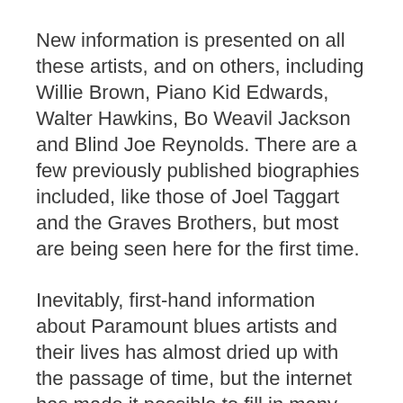New information is presented on all these artists, and on others, including Willie Brown, Piano Kid Edwards, Walter Hawkins, Bo Weavil Jackson and Blind Joe Reynolds. There are a few previously published biographies included, like those of Joel Taggart and the Graves Brothers, but most are being seen here for the first time.
Inevitably, first-hand information about Paramount blues artists and their lives has almost dried up with the passage of time, but the internet has made it possible to fill in many blanks, and sometimes to a surprisingly extent. Place from a long...